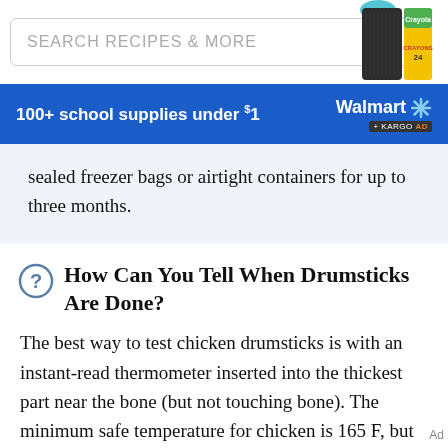[Figure (screenshot): Search bar with placeholder text 'SEARCH RECIPES & MORE' and a magnifying glass icon on the right. School supplies image (scissors, pencil case, crayons box) visible at the top right.]
[Figure (infographic): Walmart advertisement banner: blue background, text '100+ school supplies under $1' on left, Walmart logo with spark symbol on right, KARGO AD badge below logo.]
sealed freezer bags or airtight containers for up to three months.
How Can You Tell When Drumsticks Are Done?
The best way to test chicken drumsticks is with an instant-read thermometer inserted into the thickest part near the bone (but not touching bone). The minimum safe temperature for chicken is 165 F, but drumsticks and thighs remain tender and